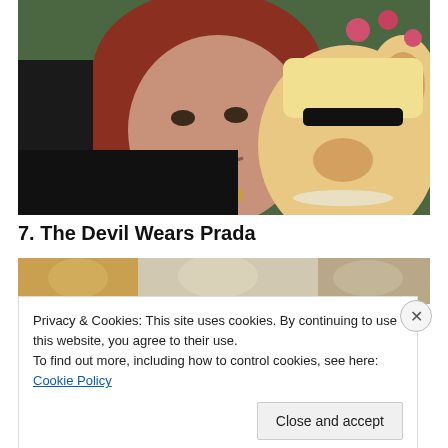[Figure (photo): A woman with red bob hair and gold necklaces smiling, next to a Miss Piggy Muppet character, outdoors with greenery in background.]
7. The Devil Wears Prada
[Figure (photo): Partially visible photo behind cookie consent banner, showing blurred figures at a table.]
Privacy & Cookies: This site uses cookies. By continuing to use this website, you agree to their use.
To find out more, including how to control cookies, see here: Cookie Policy
Close and accept